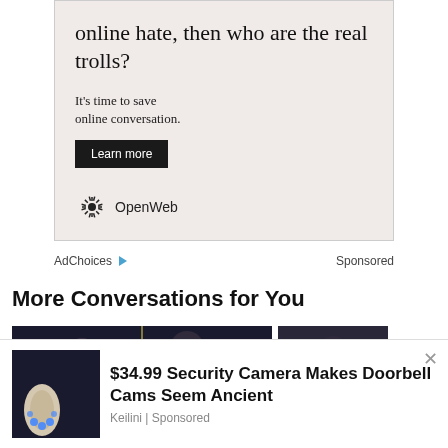[Figure (other): Advertisement banner with pink/beige background. Headline text: 'online hate, then who are the real trolls?' Subtext: 'It's time to save online conversation.' Button: 'Learn more'. OpenWeb logo at bottom.]
AdChoices ▷ Sponsored
More Conversations for You
[Figure (photo): Two men in dark sports setting, appears to be boxing or MMA context]
[Figure (photo): Partially visible person in dark setting]
[Figure (other): Floating ad overlay showing a robotic arm with blue lights, and text: '$34.99 Security Camera Makes Doorbell Cams Seem Ancient' by Keilini | Sponsored]